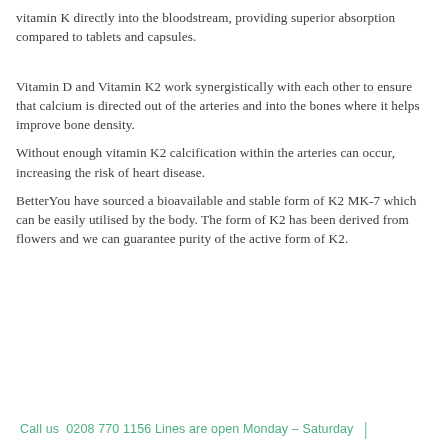vitamin K directly into the bloodstream, providing superior absorption compared to tablets and capsules.
Vitamin D and Vitamin K2 work synergistically with each other to ensure that calcium is directed out of the arteries and into the bones where it helps improve bone density.
Without enough vitamin K2 calcification within the arteries can occur, increasing the risk of heart disease.
BetterYou have sourced a bioavailable and stable form of K2 MK-7 which can be easily utilised by the body. The form of K2 has been derived from flowers and we can guarantee purity of the active form of K2.
Call us  0208 770 1156 Lines are open Monday – Saturday  |